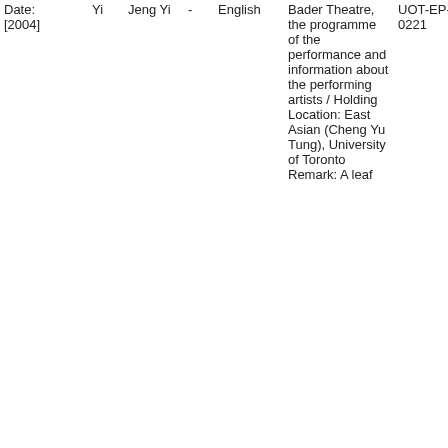| Date: [2004] | Yi | Jeng Yi | - | English | Bader Theatre, the programme of the performance and information about the performing artists / Holding Location: East Asian (Cheng Yu Tung), University of Toronto Remark: A leaf | UOT-EP-0221 |